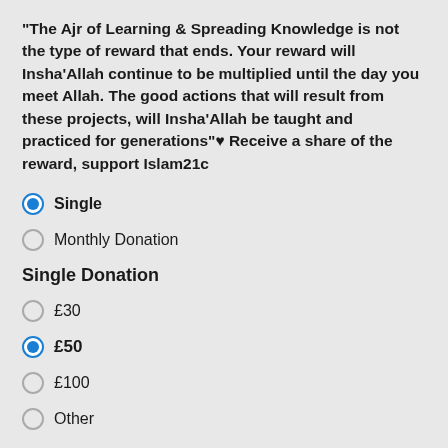"The Ajr of Learning & Spreading Knowledge is not the type of reward that ends. Your reward will Insha'Allah continue to be multiplied until the day you meet Allah. The good actions that will result from these projects, will Insha'Allah be taught and practiced for generations"♥ Receive a share of the reward, support Islam21c
Single (selected)
Monthly Donation
Single Donation
£30
£50 (selected)
£100
Other